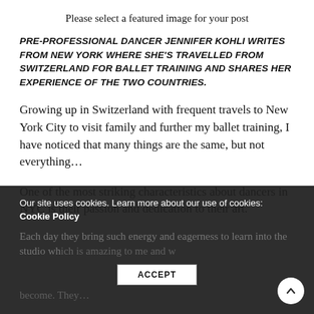Please select a featured image for your post
PRE-PROFESSIONAL DANCER JENNIFER KOHLI WRITES FROM NEW YORK WHERE SHE'S TRAVELLED FROM SWITZERLAND FOR BALLET TRAINING AND SHARES HER EXPERIENCE OF THE TWO COUNTRIES.
Growing up in Switzerland with frequent travels to New York City to visit family and further my ballet training, I have noticed that many things are the same, but not everything...
One of the most striking characteristics about dancers in NYC is their passion and dedication to their art. Each day they bring such energy and eagerness to learn into the studio which is amazing to me and we become. They...
Our site uses cookies. Learn more about our use of cookies: Cookie Policy